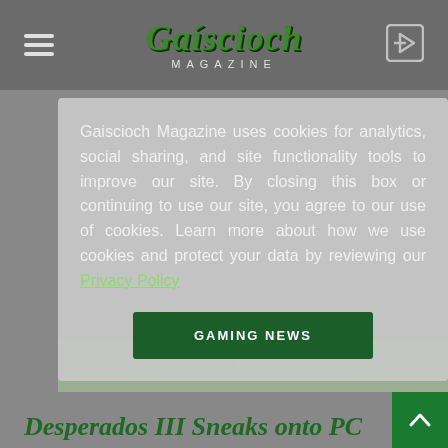Gaíscioch Magazine
Gaiscioch Magazine uses cookies for analytics, social sharing, and site functionality tools to improve our site. By closing this box or continuing to use our site, you agree to our use of cookies. Learn more about how we use cookies and protect your data by reviewing our Privacy Policy
GAMING NEWS
Desperados III Sneaks onto PC